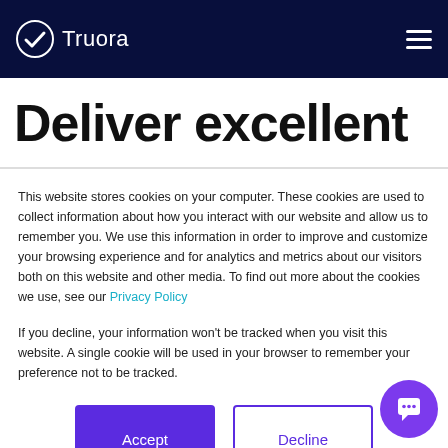Truora
Deliver excellent
This website stores cookies on your computer. These cookies are used to collect information about how you interact with our website and allow us to remember you. We use this information in order to improve and customize your browsing experience and for analytics and metrics about our visitors both on this website and other media. To find out more about the cookies we use, see our Privacy Policy
If you decline, your information won't be tracked when you visit this website. A single cookie will be used in your browser to remember your preference not to be tracked.
Accept | Decline